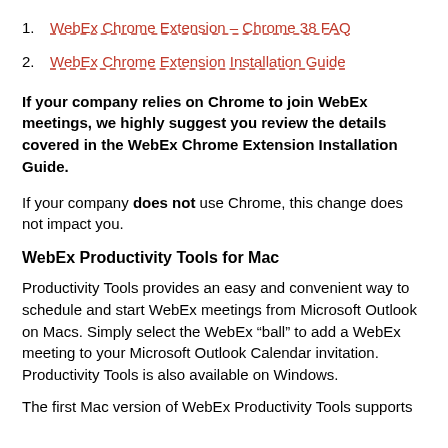1. WebEx Chrome Extension – Chrome 38 FAQ
2. WebEx Chrome Extension Installation Guide
If your company relies on Chrome to join WebEx meetings, we highly suggest you review the details covered in the WebEx Chrome Extension Installation Guide.
If your company does not use Chrome, this change does not impact you.
WebEx Productivity Tools for Mac
Productivity Tools provides an easy and convenient way to schedule and start WebEx meetings from Microsoft Outlook on Macs. Simply select the WebEx “ball” to add a WebEx meeting to your Microsoft Outlook Calendar invitation. Productivity Tools is also available on Windows.
The first Mac version of WebEx Productivity Tools supports